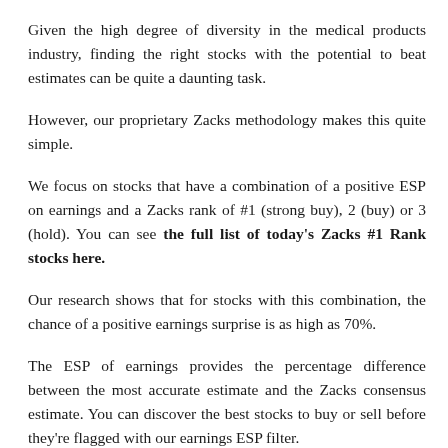Given the high degree of diversity in the medical products industry, finding the right stocks with the potential to beat estimates can be quite a daunting task.
However, our proprietary Zacks methodology makes this quite simple.
We focus on stocks that have a combination of a positive ESP on earnings and a Zacks rank of #1 (strong buy), 2 (buy) or 3 (hold). You can see the full list of today's Zacks #1 Rank stocks here.
Our research shows that for stocks with this combination, the chance of a positive earnings surprise is as high as 70%.
The ESP of earnings provides the percentage difference between the most accurate estimate and the Zacks consensus estimate. You can discover the best stocks to buy or sell before they're flagged with our earnings ESP filter.
Here we feature three stocks that are expected to top earnings estimates in this reporting cycle.